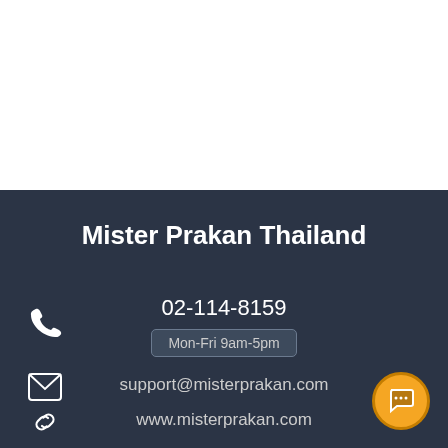Mister Prakan Thailand
02-114-8159
Mon-Fri 9am-5pm
support@misterprakan.com
www.misterprakan.com